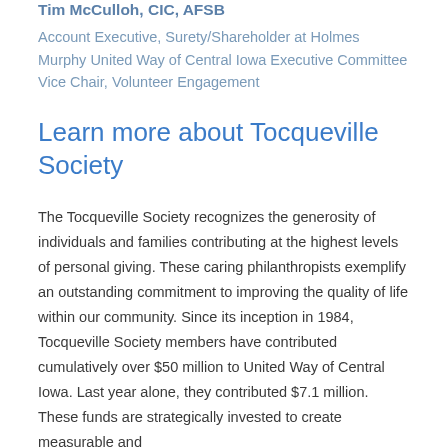Tim McCulloh, CIC, AFSB
Account Executive, Surety/Shareholder at Holmes Murphy United Way of Central Iowa Executive Committee Vice Chair, Volunteer Engagement
Learn more about Tocqueville Society
The Tocqueville Society recognizes the generosity of individuals and families contributing at the highest levels of personal giving. These caring philanthropists exemplify an outstanding commitment to improving the quality of life within our community. Since its inception in 1984, Tocqueville Society members have contributed cumulatively over $50 million to United Way of Central Iowa. Last year alone, they contributed $7.1 million. These funds are strategically invested to create measurable and